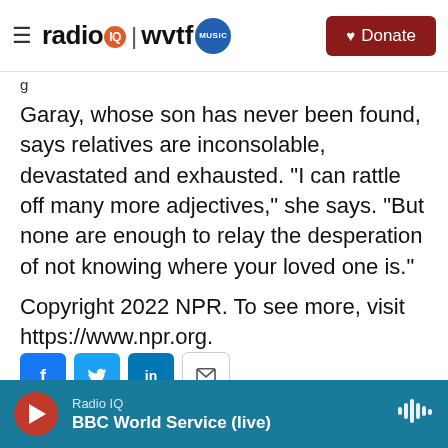radio IQ | wvtf MUSIC — Donate
g
Garay, whose son has never been found, says relatives are inconsolable, devastated and exhausted. "I can rattle off many more adjectives," she says. "But none are enough to relay the desperation of not knowing where your loved one is."
Copyright 2022 NPR. To see more, visit https://www.npr.org.
[Figure (infographic): Social share buttons: Facebook (blue), Twitter (blue), LinkedIn (blue), Email (outlined)]
Radio IQ — BBC World Service (live)